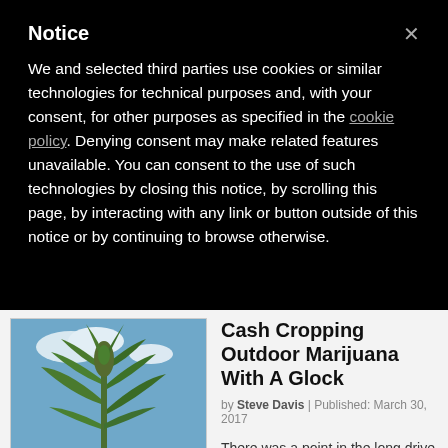Notice
We and selected third parties use cookies or similar technologies for technical purposes and, with your consent, for other purposes as specified in the cookie policy. Denying consent may make related features unavailable. You can consent to the use of such technologies by closing this notice, by scrolling this page, by interacting with any link or button outside of this notice or by continuing to browse otherwise.
[Figure (photo): Outdoor marijuana plant against a blue sky]
Cash Cropping Outdoor Marijuana With A Glock
by Steve Davis | Published: March 30, 2017
There was a point in the long drive upwards when I